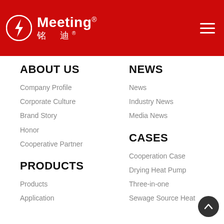Meeting® 铭 迪®
ABOUT US
Company Profile
Corporate Culture
Brand Story
Honor
Cooperative Partner
NEWS
News
Industry News
Media News
PRODUCTS
Products
Application
CASES
Cooperation Case
Drying Heat Pump
Three-in-one
Sewage Source Heat